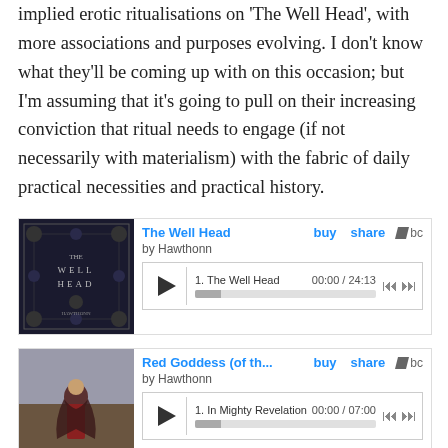implied erotic ritualisations on 'The Well Head', with more associations and purposes evolving. I don't know what they'll be coming up with on this occasion; but I'm assuming that it's going to pull on their increasing conviction that ritual needs to engage (if not necessarily with materialism) with the fabric of daily practical necessities and practical history.
[Figure (screenshot): Bandcamp embedded player for 'The Well Head' by Hawthonn. Album art shows ornate dark patterned cover with text 'THE WELL HEAD'. Player shows track 1. The Well Head, duration 00:00 / 24:13, with play button, progress bar, and navigation controls. Links: buy, share, bc logo.]
[Figure (screenshot): Bandcamp embedded player for 'Red Goddess (of th...' by Hawthonn. Album art shows a woman in red dress in a field. Player shows track 1. In Mighty Revelation, duration 00:00 / 07:00, with play button, progress bar, and navigation controls. Links: buy, share, bc logo.]